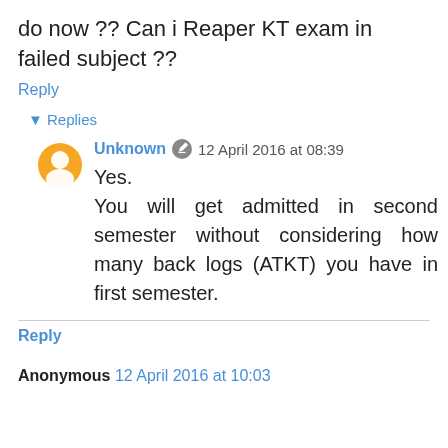do now ?? Can i Reaper KT exam in failed subject ??
Reply
Replies
Unknown  12 April 2016 at 08:39
Yes.
You will get admitted in second semester without considering how many back logs (ATKT) you have in first semester.
Reply
Anonymous 12 April 2016 at 10:03